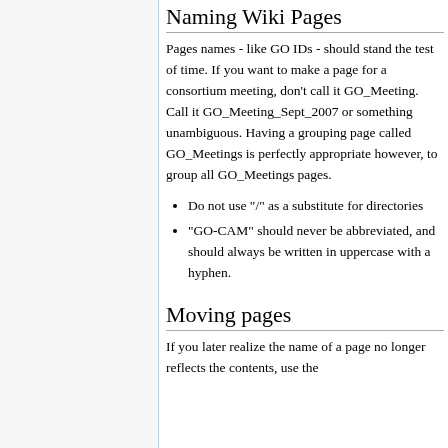Naming Wiki Pages
Pages names - like GO IDs - should stand the test of time. If you want to make a page for a consortium meeting, don't call it GO_Meeting. Call it GO_Meeting_Sept_2007 or something unambiguous. Having a grouping page called GO_Meetings is perfectly appropriate however, to group all GO_Meetings pages.
Do not use "/" as a substitute for directories
"GO-CAM" should never be abbreviated, and should always be written in uppercase with a hyphen.
Moving pages
If you later realize the name of a page no longer reflects the contents, use the